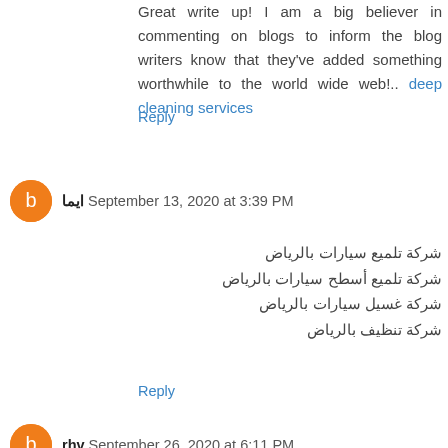Great write up! I am a big believer in commenting on blogs to inform the blog writers know that they've added something worthwhile to the world wide web!.. deep cleaning services
Reply
ايما  September 13, 2020 at 3:39 PM
شركة تلميع سيارات بالرياض
شركة تلميع أسطح سيارات بالرياض
شركة غسيل سيارات بالرياض
شركة تنظيف بالرياض
Reply
rhv  September 26, 2020 at 6:11 PM
شركة سما الحرمين بابها وخميس مشيط تقدم افضل الخدمات تحت اشراف عمالة مميزه في غاية الخبرة
شركه تنظيف بابها